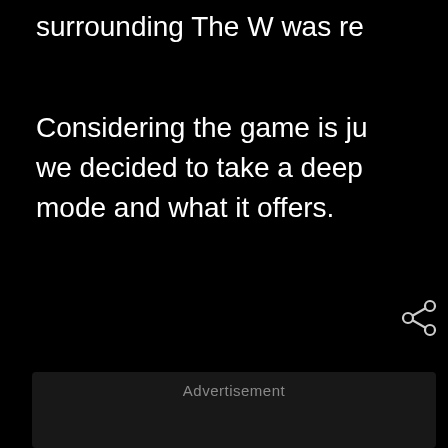surrounding The W was re
Considering the game is ju we decided to take a deep mode and what it offers.
[Figure (other): Advertisement placeholder block with 'Advertisement' label and share icon]